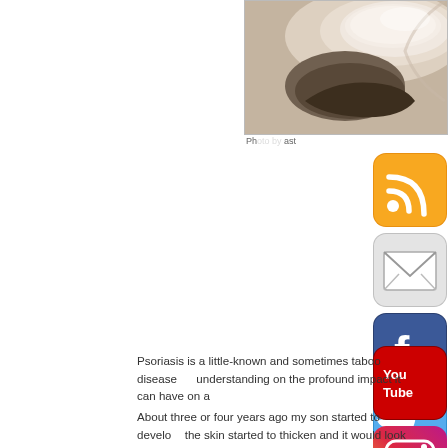[Figure (photo): Close-up photo of a finger/nail area, possibly showing skin condition, with dark curved object beneath the nail]
Ph...ast
[Figure (illustration): RSS feed icon - orange rounded square with RSS symbol]
[Figure (illustration): Email icon - grey rounded square with envelope symbol]
[Figure (illustration): Facebook icon - blue rounded square with 'f' symbol]
[Figure (illustration): Twitter icon - light blue rounded square with bird symbol]
[Figure (illustration): YouTube icon - red rounded square with YouTube logo]
[Figure (illustration): Instagram icon - colorful rounded square with camera symbol]
Psoriasis is a little-known and sometimes taboo disease... r v... understanding on the profound impact it can have on a...'s l...
About three or four years ago my son started to develo... re... the skin started to thicken and it would look like he ha... cal... wonderful and prescribed some steroid cream. After a couple of m... expert opinion.
After a few months wait we saw the dermatologist and he recomm... potent steroids on his patches of psoriasis, by this poin... als... for his face and make sure he had adequate breaks so h... did...